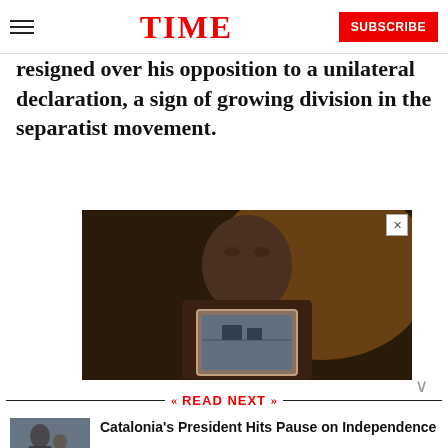TIME | SUBSCRIBE
resigned over his opposition to a unilateral declaration, a sign of growing division in the separatist movement.
[Figure (photo): Advertisement photo showing a man holding a framed photograph, dark warm-toned background]
READ NEXT
[Figure (photo): Thumbnail image of Catalonia's President]
Catalonia's President Hits Pause on Independence